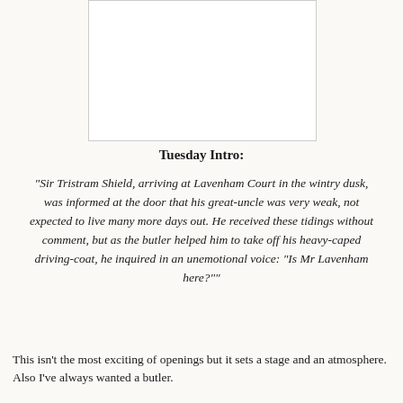[Figure (other): A white rectangular image placeholder with a light border, representing an illustration or photograph.]
Tuesday Intro:
"Sir Tristram Shield, arriving at Lavenham Court in the wintry dusk, was informed at the door that his great-uncle was very weak, not expected to live many more days out. He received these tidings without comment, but as the butler helped him to take off his heavy-caped driving-coat, he inquired in an unemotional voice: "Is Mr Lavenham here?""
This isn't the most exciting of openings but it sets a stage and an atmosphere. Also I've always wanted a butler.